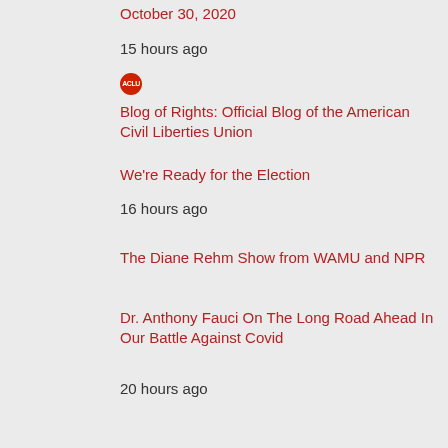October 30, 2020
15 hours ago
[Figure (logo): ACLU red circular logo]
Blog of Rights: Official Blog of the American Civil Liberties Union
We're Ready for the Election
16 hours ago
The Diane Rehm Show from WAMU and NPR
Dr. Anthony Fauci On The Long Road Ahead In Our Battle Against Covid
20 hours ago